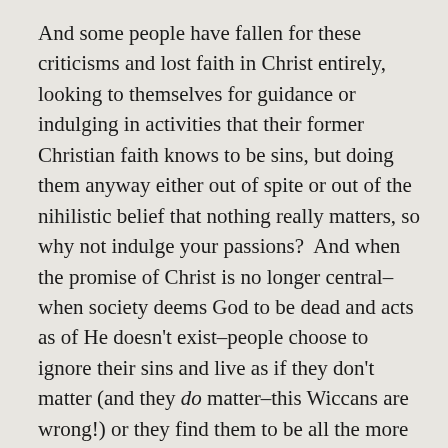And some people have fallen for these criticisms and lost faith in Christ entirely, looking to themselves for guidance or indulging in activities that their former Christian faith knows to be sins, but doing them anyway either out of spite or out of the nihilistic belief that nothing really matters, so why not indulge your passions?  And when the promise of Christ is no longer central–when society deems God to be dead and acts as of He doesn't exist–people choose to ignore their sins and live as if they don't matter (and they do matter–this Wiccans are wrong!) or they find them to be all the more terrible, because the self becomes the savior.  Without the hope of Christ and His forgiveness, where is the hope for making things right?  Sin and its effects grow darker and more frightening.  When the sinful world distracts us and we no longer look to the promise of